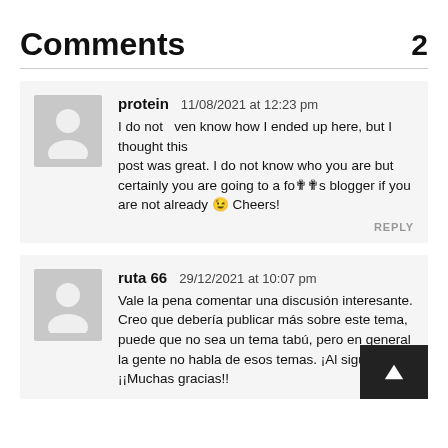Comments 2
protein  11/08/2021 at 12:23 pm
I do not  ven know how I ended up here, but I thought this post was great. I do not know who you are but certainly you are going to a fomols blogger if you are not already 😉 Cheers!
REPLY
ruta 66  29/12/2021 at 10:07 pm
Vale la pena comentar una discusión interesante. Creo que debería publicar más sobre este tema, puede que no sea un tema tabú, pero en general la gente no habla de esos temas. ¡Al siguiente! ¡¡Muchas gracias!!